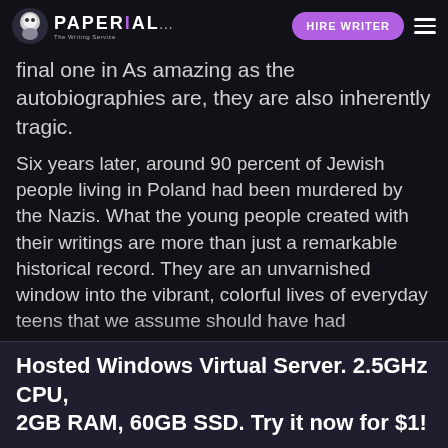PAPERIAL... HIRE WRITER
final one in As amazing as the autobiographies are, they are also inherently tragic.
Six years later, around 90 percent of Jewish people living in Poland had been murdered by the Nazis. What the young people created with their writings are more than just a remarkable historical record. They are an unvarnished window into the vibrant, colorful lives of everyday teens that we assume should have had experiences very different from our own. But what they write feels like it could have been written today — from the catty girls who make fun of you for wearing the wrong thing to that friend who just gets you to, sadly, the hate and anti-Semitism they saw and experienced. T he room was dark and the Stormer had started drifting off. He knew that his mom loved him so
Hosted Windows Virtual Server. 2.5GHz CPU, 2GB RAM, 60GB SSD. Try it now for $1!